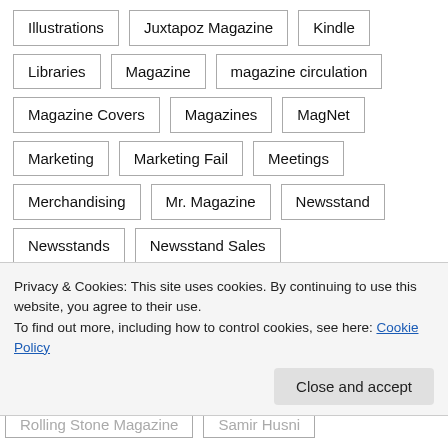Illustrations
Juxtapoz Magazine
Kindle
Libraries
Magazine
magazine circulation
Magazine Covers
Magazines
MagNet
Marketing
Marketing Fail
Meetings
Merchandising
Mr. Magazine
Newsstand
Newsstands
Newsstand Sales
Newsweek Magazine
New Yorker Magazine
Occupy Wall Street
Outside Magazine
Privacy & Cookies: This site uses cookies. By continuing to use this website, you agree to their use.
To find out more, including how to control cookies, see here: Cookie Policy
Rolling Stone Magazine
Samir Husni